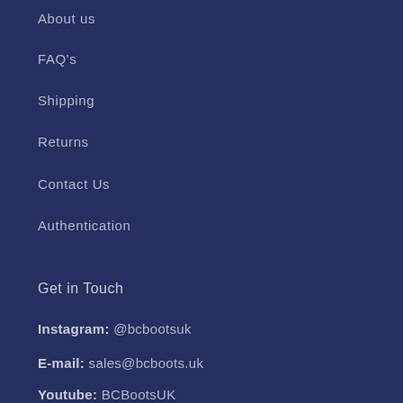About us
FAQ's
Shipping
Returns
Contact Us
Authentication
Get in Touch
Instagram: @bcbootsuk
E-mail: sales@bcboots.uk
Youtube: BCBootsUK